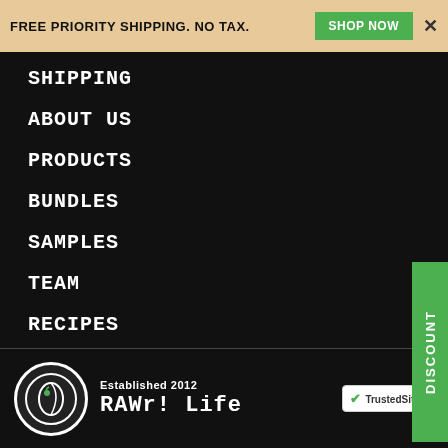FREE PRIORITY SHIPPING. NO TAX.  SHOP NOW  ×
SHIPPING
ABOUT US
PRODUCTS
BUNDLES
SAMPLES
TEAM
RECIPES
TESTIMONIALS
AFFILIATE MARKETING
BLOG
CONTACT
[Figure (logo): RAWr! Life logo — circular icon with leaf, established 2012, with TrustedSite badge]